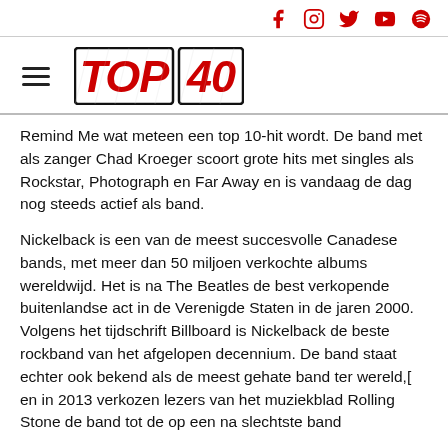Social media icons: Facebook, Instagram, Twitter, YouTube, Spotify
[Figure (logo): Top 40 logo with hamburger menu icon to left]
Remind Me wat meteen een top 10-hit wordt. De band met als zanger Chad Kroeger scoort grote hits met singles als Rockstar, Photograph en Far Away en is vandaag de dag nog steeds actief als band.
Nickelback is een van de meest succesvolle Canadese bands, met meer dan 50 miljoen verkochte albums wereldwijd. Het is na The Beatles de best verkopende buitenlandse act in de Verenigde Staten in de jaren 2000. Volgens het tijdschrift Billboard is Nickelback de beste rockband van het afgelopen decennium. De band staat echter ook bekend als de meest gehate band ter wereld,[ en in 2013 verkozen lezers van het muziekblad Rolling Stone de band tot de op een na slechtste band